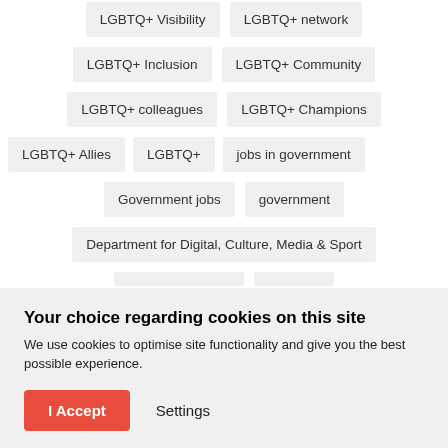LGBTQ+ Visibility
LGBTQ+ network
LGBTQ+ Inclusion
LGBTQ+ Community
LGBTQ+ colleagues
LGBTQ+ Champions
LGBTQ+ Allies
LGBTQ+
jobs in government
Government jobs
government
Department for Digital, Culture, Media & Sport
Your choice regarding cookies on this site
We use cookies to optimise site functionality and give you the best possible experience.
I Accept
Settings